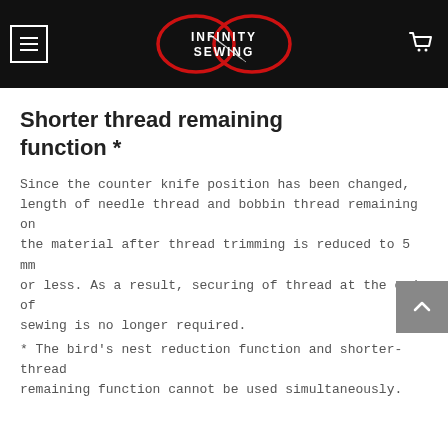[Figure (logo): Infinity Sewing logo: infinity symbol in red with a needle, white text 'INFINITY SEWING', on black background. Hamburger menu icon on left, shopping cart icon on right.]
Shorter thread remaining function *
Since the counter knife position has been changed, length of needle thread and bobbin thread remaining on the material after thread trimming is reduced to 5 mm or less. As a result, securing of thread at the end of sewing is no longer required.
* The bird's nest reduction function and shorter-thread remaining function cannot be used simultaneously.